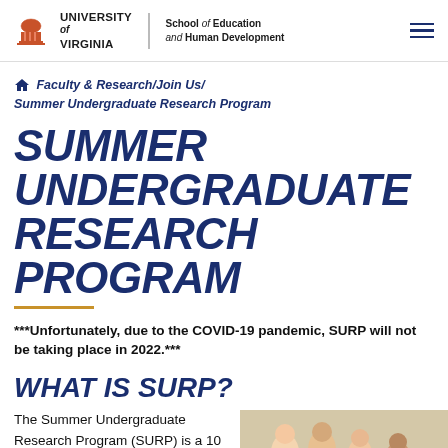University of Virginia — School of Education and Human Development
Faculty & Research / Join Us / Summer Undergraduate Research Program
SUMMER UNDERGRADUATE RESEARCH PROGRAM
***Unfortunately, due to the COVID-19 pandemic, SURP will not be taking place in 2022.***
WHAT IS SURP?
The Summer Undergraduate Research Program (SURP) is a 10 week internship that
[Figure (photo): Group photo of students smiling in a bright indoor setting]